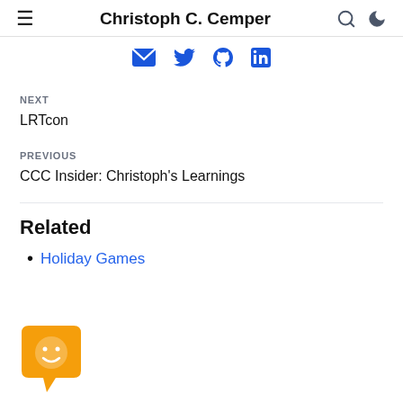Christoph C. Cemper
[Figure (infographic): Social media icons: email, Twitter, GitHub, LinkedIn in blue]
NEXT
LRTcon
PREVIOUS
CCC Insider: Christoph's Learnings
Related
Holiday Games
[Figure (illustration): Orange chat bubble mascot icon with smiley face]